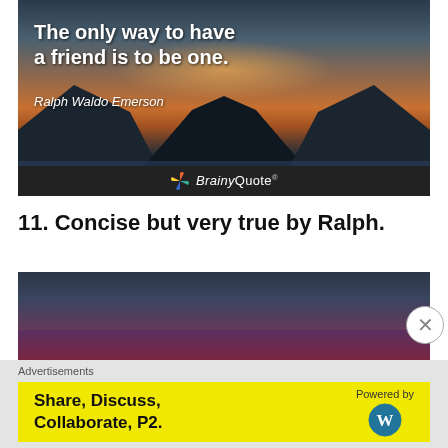[Figure (illustration): Inspirational quote image on a mountain lake landscape background with warm sunset glow. White bold text reads 'The only way to have a friend is to be one.' with attribution 'Ralph Waldo Emerson' in italic. BrainyQuote logo at bottom.]
11. Concise but very true by Ralph.
[Figure (photo): Dark moody landscape photo with purple and reddish sky gradient, mountains silhouette.]
Advertisements
[Figure (other): Advertisement banner with yellow background. Text reads 'Share, Discuss, Collaborate, P2.' on the left and 'Powered by' with WordPress logo on the right.]